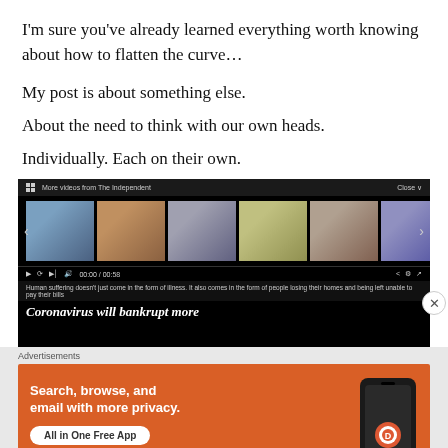I'm sure you've already learned everything worth knowing about how to flatten the curve…
My post is about something else.
About the need to think with our own heads.
Individually. Each on their own.
[Figure (screenshot): Embedded video player from The Independent showing a carousel of video thumbnails, playback controls, time 00:00/00:58, and partial headline 'Coronavirus will bankrupt more'. A close button (X) appears at bottom right.]
Advertisements
[Figure (screenshot): DuckDuckGo advertisement banner on orange background reading 'Search, browse, and email with more privacy. All in One Free App' with DuckDuckGo logo on a phone mockup.]